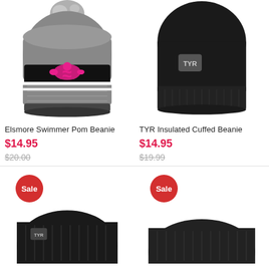[Figure (photo): Elsmore Swimmer Pom Beanie - gray/black knit beanie with pink swimmer logo and pom on top]
Elsmore Swimmer Pom Beanie
$14.95
$20.00
[Figure (photo): TYR Insulated Cuffed Beanie - solid black beanie with TYR logo patch]
TYR Insulated Cuffed Beanie
$14.95
$19.99
[Figure (photo): Black cuffed beanie with Sale badge - partial view at bottom of page]
[Figure (photo): Black cuffed beanie with Sale badge - partial view at bottom of page]